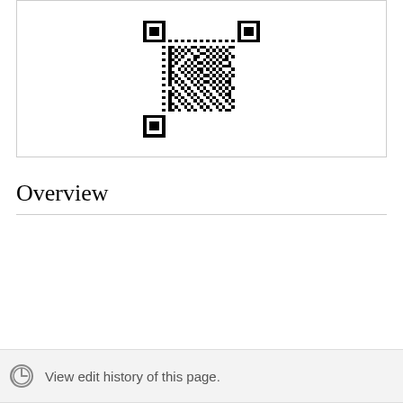[Figure (other): QR code displayed inside a bordered box]
Overview
View edit history of this page.